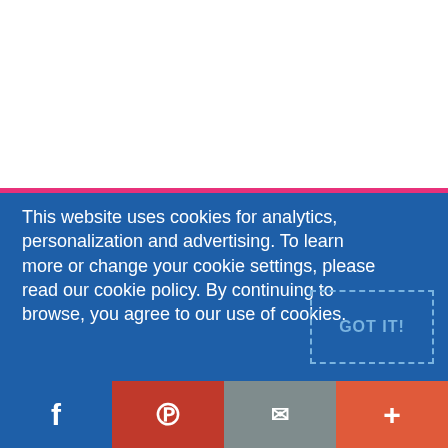This website uses cookies for analytics, personalization and advertising. To learn more or change your cookie settings, please read our cookie policy. By continuing to browse, you agree to our use of cookies.
[Figure (other): GOT IT! button with dashed border on blue background]
[Figure (other): Social sharing bar with Facebook, Pinterest, email, and plus buttons]